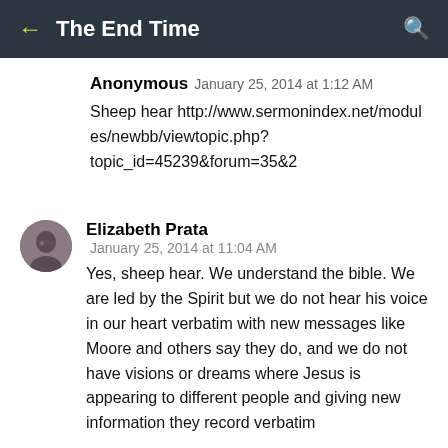The End Time
Anonymous   January 25, 2014 at 1:12 AM
Sheep hear http://www.sermonindex.net/modules/newbb/viewtopic.php?topic_id=45239&forum=35&2
Elizabeth Prata   January 25, 2014 at 11:04 AM
Yes, sheep hear. We understand the bible. We are led by the Spirit but we do not hear his voice in our heart verbatim with new messages like Moore and others say they do, and we do not have visions or dreams where Jesus is appearing to different people and giving new information they record verbatim